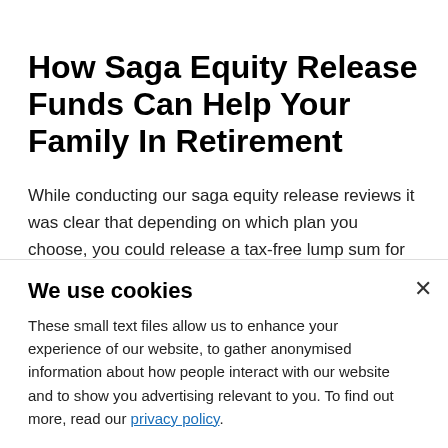How Saga Equity Release Funds Can Help Your Family In Retirement
While conducting our saga equity release reviews it was clear that depending on which plan you choose, you could release a tax-free lump sum for any purpose. Most large sums released through lifetime mortgage products are
We use cookies
These small text files allow us to enhance your experience of our website, to gather anonymised information about how people interact with our website and to show you advertising relevant to you. To find out more, read our privacy policy.